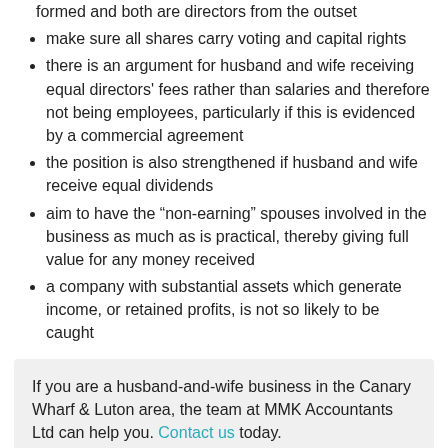formed and both are directors from the outset
make sure all shares carry voting and capital rights
there is an argument for husband and wife receiving equal directors' fees rather than salaries and therefore not being employees, particularly if this is evidenced by a commercial agreement
the position is also strengthened if husband and wife receive equal dividends
aim to have the “non-earning” spouses involved in the business as much as is practical, thereby giving full value for any money received
a company with substantial assets which generate income, or retained profits, is not so likely to be caught
If you are a husband-and-wife business in the Canary Wharf & Luton area, the team at MMK Accountants Ltd can help you. Contact us today.